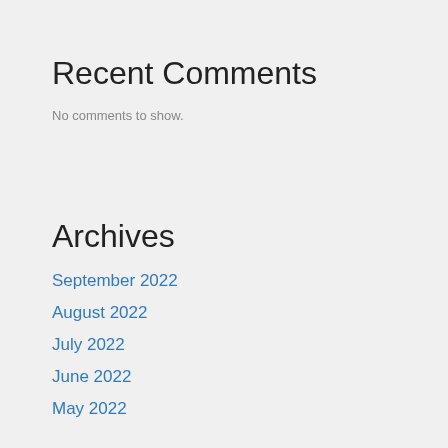Recent Comments
No comments to show.
Archives
September 2022
August 2022
July 2022
June 2022
May 2022
April 2022
November 2021